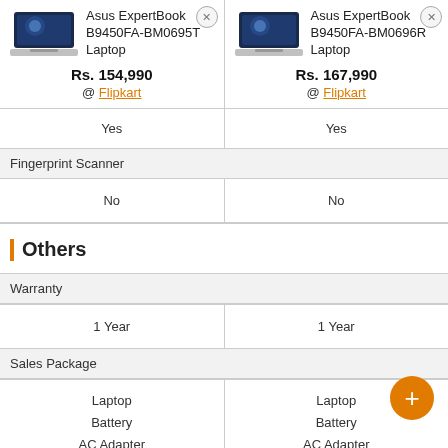| Asus ExpertBook B9450FA-BM0695T Laptop | Asus ExpertBook B9450FA-BM0696R Laptop |
| --- | --- |
| Rs. 154,990 @ Flipkart | Rs. 167,990 @ Flipkart |
| Yes | Yes |
| Fingerprint Scanner |  |
| No | No |
| Others |  |
| Warranty |  |
| 1 Year | 1 Year |
| Sales Package |  |
| Laptop
Battery
AC Adapter
User Guide | Laptop
Battery
AC Adapter
User Guide |